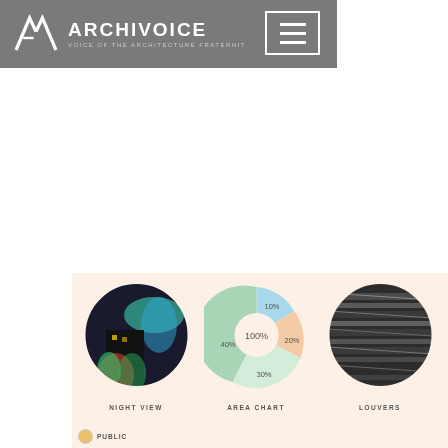ARCHIVOICE — VOICE OF THE ARCHITECTURE FRATERNIT
[Figure (photo): Circular cropped night view photo showing a building with aurora borealis / colorful night sky and tropical plants]
[Figure (donut-chart): AREA CHART]
[Figure (photo): Circular cropped close-up photo of architectural louvers / metal fins]
NIGHT VIEW
AREA CHART
LOUVERS
PUBLIC